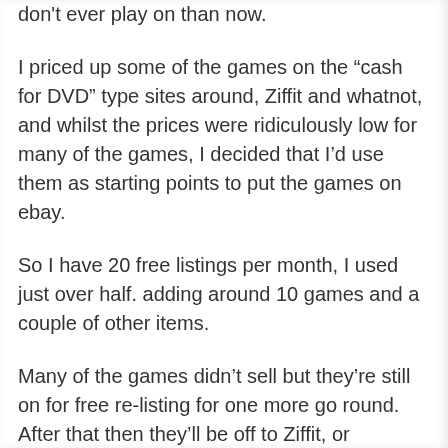don't ever play on than now.
I priced up some of the games on the “cash for DVD” type sites around, Ziffit and whatnot, and whilst the prices were ridiculously low for many of the games, I decided that I’d use them as starting points to put the games on ebay.
So I have 20 free listings per month, I used just over half. adding around 10 games and a couple of other items.
Many of the games didn’t sell but they’re still on for free re-listing for one more go round. After that then they’ll be off to Ziffit, or wherever it was that I got the best quotes.
But what really grinds my gears is that 5 of my games sold. All for roughly £5.
However the price breakdown is horrifying...